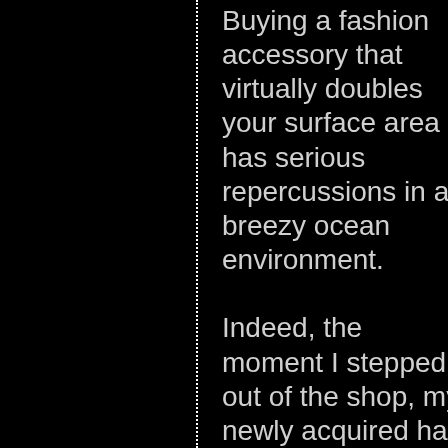Buying a fashion accessory that virtually doubles your surface area has serious repercussions in a breezy ocean environment.

Indeed, the moment I stepped out of the shop, my newly acquired hat conceived urgent second thoughts about our relationship and made several vigorous attempts to not remain on my head. Soon I became a minor